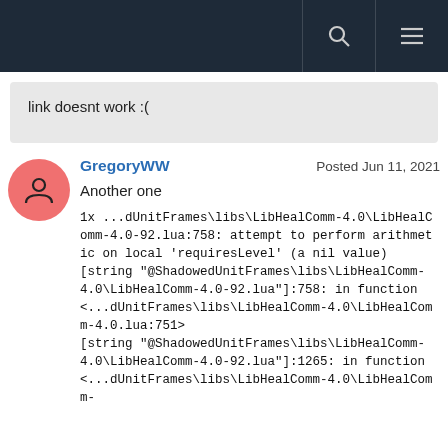link doesnt work :(
GregoryWW  Posted Jun 11, 2021
Another one
1x ...dUnitFrames\libs\LibHealComm-4.0\LibHealComm-4.0-92.lua:758: attempt to perform arithmetic on local 'requiresLevel' (a nil value)
[string "@ShadowedUnitFrames\libs\LibHealComm-4.0\LibHealComm-4.0-92.lua"]:758: in function <...dUnitFrames\libs\LibHealComm-4.0\LibHealComm-4.0.lua:751>
[string "@ShadowedUnitFrames\libs\LibHealComm-4.0\LibHealComm-4.0-92.lua"]:1265: in function <...dUnitFrames\libs\LibHealComm-4.0\LibHealComm-